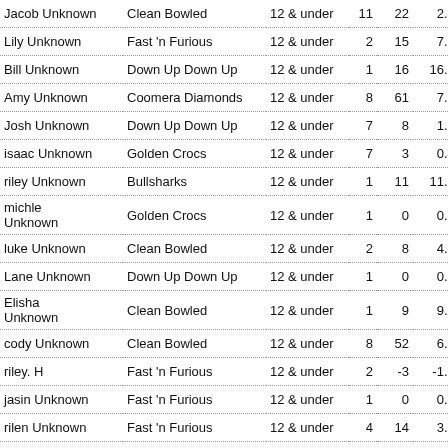| Name | Team | Age Group | M | R | Avg |  |
| --- | --- | --- | --- | --- | --- | --- |
| Jacob Unknown | Clean Bowled | 12 & under | 11 | 22 | 2.00 | 15 |
| Lily Unknown | Fast 'n Furious | 12 & under | 2 | 15 | 7.50 | 65 |
| Bill Unknown | Down Up Down Up | 12 & under | 1 | 16 | 16.00 | 17 |
| Amy Unknown | Coomera Diamonds | 12 & under | 8 | 61 | 7.63 | 67 |
| Josh Unknown | Down Up Down Up | 12 & under | 7 | 8 | 1.14 | 9. |
| isaac Unknown | Golden Crocs | 12 & under | 7 | 3 | 0.43 | 3. |
| riley Unknown | Bullsharks | 12 & under | 1 | 11 | 11.00 | 91 |
| michle Unknown | Golden Crocs | 12 & under | 1 | 0 | 0.00 | 0 |
| luke Unknown | Clean Bowled | 12 & under | 2 | 8 | 4.00 | 25 |
| Lane Unknown | Down Up Down Up | 12 & under | 1 | 0 | 0.00 | 0 |
| Elisha Unknown | Clean Bowled | 12 & under | 1 | 9 | 9.00 | 75 |
| cody Unknown | Clean Bowled | 12 & under | 8 | 52 | 6.50 | 41 |
| riley. H | Fast 'n Furious | 12 & under | 2 | -3 | -1.50 | -1 |
| jasin Unknown | Fast 'n Furious | 12 & under | 1 | 0 | 0.00 | 0 |
| rilen Unknown | Fast 'n Furious | 12 & under | 4 | 14 | 3.50 | 41 |
| Noah Unknown | Down Up Down Up | 12 & under | 1 | 8 | 8.00 | 51 |